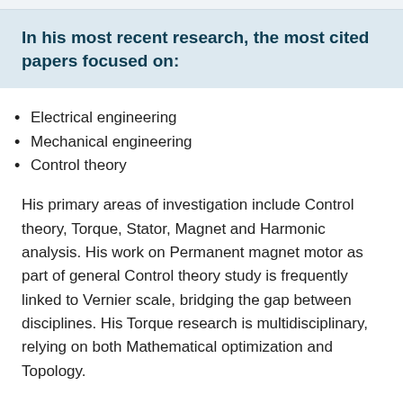In his most recent research, the most cited papers focused on:
Electrical engineering
Mechanical engineering
Control theory
His primary areas of investigation include Control theory, Torque, Stator, Magnet and Harmonic analysis. His work on Permanent magnet motor as part of general Control theory study is frequently linked to Vernier scale, bridging the gap between disciplines. His Torque research is multidisciplinary, relying on both Mathematical optimization and Topology.
Wenxiang Zhao regularly ties together related areas like Electromagnetic coil in his Magnet